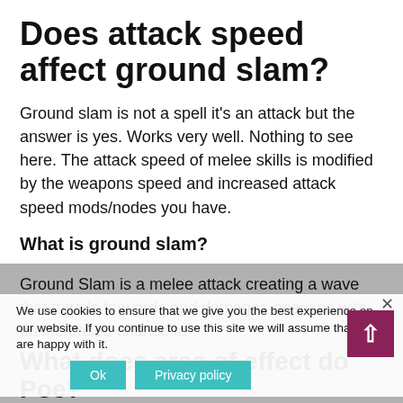Does attack speed affect ground slam?
Ground slam is not a spell it’s an attack but the answer is yes. Works very well. Nothing to see here. The attack speed of melee skills is modified by the weapons speed and increased attack speed mods/nodes you have.
What is ground slam?
Ground Slam is a melee attack creating a wave that travels forwards and damages enemies with an increased chance to
We use cookies to ensure that we give you the best experience on our website. If you continue to use this site we will assume that you are happy with it.
What does area of effect do Poe?